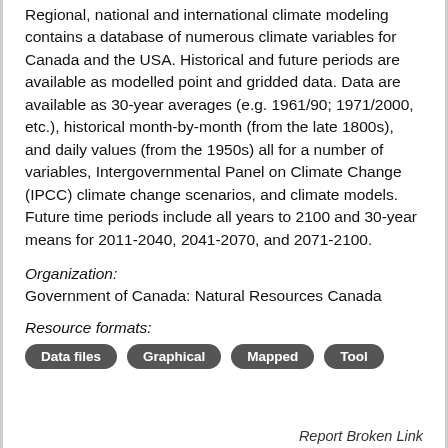Regional, national and international climate modeling contains a database of numerous climate variables for Canada and the USA. Historical and future periods are available as modelled point and gridded data. Data are available as 30-year averages (e.g. 1961/90; 1971/2000, etc.), historical month-by-month (from the late 1800s), and daily values (from the 1950s) all for a number of variables, Intergovernmental Panel on Climate Change (IPCC) climate change scenarios, and climate models. Future time periods include all years to 2100 and 30-year means for 2011-2040, 2041-2070, and 2071-2100.
Organization:
Government of Canada: Natural Resources Canada
Resource formats:
Data files   Graphical   Mapped   Tool
Report Broken Link